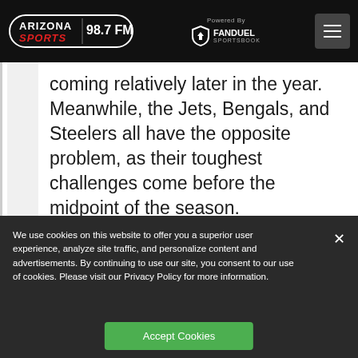Arizona Sports 98.7 FM — Powered By FanDuel Sportsbook
coming relatively later in the year. Meanwhile, the Jets, Bengals, and Steelers all have the opposite problem, as their toughest challenges come before the midpoint of the season.
We use cookies on this website to offer you a superior user experience, analyze site traffic, and personalize content and advertisements. By continuing to use our site, you consent to our use of cookies. Please visit our Privacy Policy for more information.
Accept Cookies